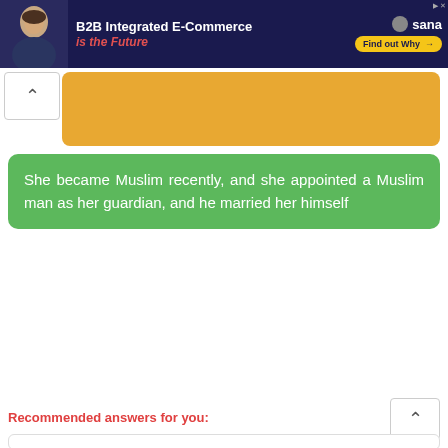[Figure (screenshot): Top banner advertisement for Sana B2B Integrated E-Commerce with dark blue background, person photo on left, text 'B2B Integrated E-Commerce is the Future' and 'Find out Why' button]
[Figure (screenshot): Orange/gold rounded rectangle bar (partially visible, likely a chat message or UI element)]
She became Muslim recently, and she appointed a Muslim man as her guardian, and he married her himself
[Figure (screenshot): Texas A&M University MBA advertisement with dark maroon background, text 'You, only better.' and 'TEXAS A&M UNIVERSITY LEARN MORE' on left, ATM logo and MBA text on right]
Recommended answers for you: